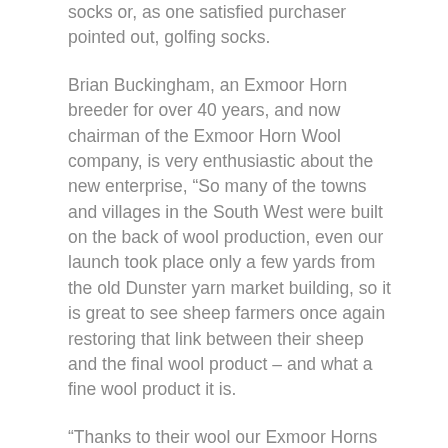socks or, as one satisfied purchaser pointed out, golfing socks.
Brian Buckingham, an Exmoor Horn breeder for over 40 years, and now chairman of the Exmoor Horn Wool company, is very enthusiastic about the new enterprise, “So many of the towns and villages in the South West were built on the back of wool production, even our launch took place only a few yards from the old Dunster yarn market building, so it is great to see sheep farmers once again restoring that link between their sheep and the final wool product – and what a fine wool product it is.
“Thanks to their wool our Exmoor Horns can withstand days of blizzard out on the moor, so what better wool could there be to knit into warm outer garments such as jumpers and scarfs?”
Exmoor Horn wool project leader Lindy Head added: “The